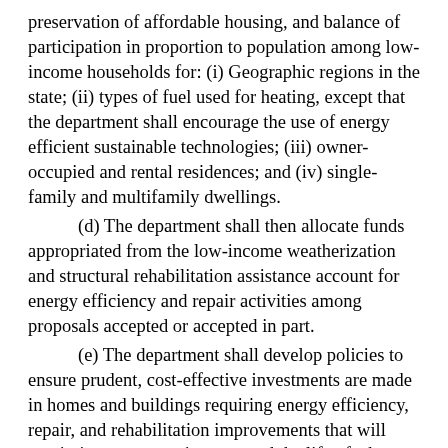preservation of affordable housing, and balance of participation in proportion to population among low-income households for: (i) Geographic regions in the state; (ii) types of fuel used for heating, except that the department shall encourage the use of energy efficient sustainable technologies; (iii) owner-occupied and rental residences; and (iv) single-family and multifamily dwellings.
(d) The department shall then allocate funds appropriated from the low-income weatherization and structural rehabilitation assistance account for energy efficiency and repair activities among proposals accepted or accepted in part.
(e) The department shall develop policies to ensure prudent, cost-effective investments are made in homes and buildings requiring energy efficiency, repair, and rehabilitation improvements that will maximize energy savings, extend the life of a home, and improve the health and safety of its residents.
(f) The department shall give priority to the structural rehabilitation and weatherization of dwelling units occupied by low-income households with